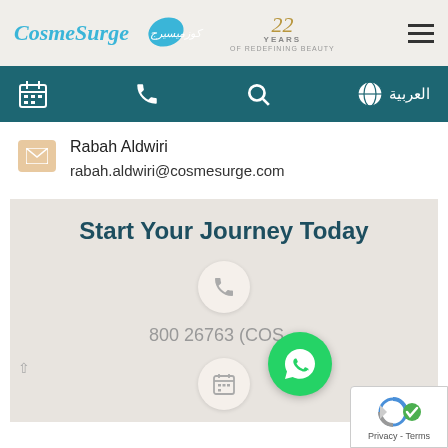[Figure (screenshot): CosmeSurge website header with logo showing '22 Years of Redefining Beauty' and hamburger menu]
[Figure (screenshot): Teal navigation bar with calendar, phone, search icons and Arabic language toggle]
Rabah Aldwiri
rabah.aldwiri@cosmesurge.com
Start Your Journey Today
800 26763 (COS...
[Figure (screenshot): WhatsApp green bubble icon and reCAPTCHA Privacy-Terms badge]